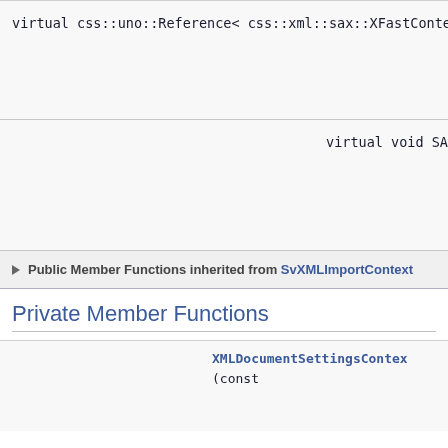virtual css::uno::Reference< css::xml::sax::XFastContextHandler > SA
virtual void SA
▶ Public Member Functions inherited from SvXMLImportContext
Private Member Functions
XMLDocumentSettingsContex (const